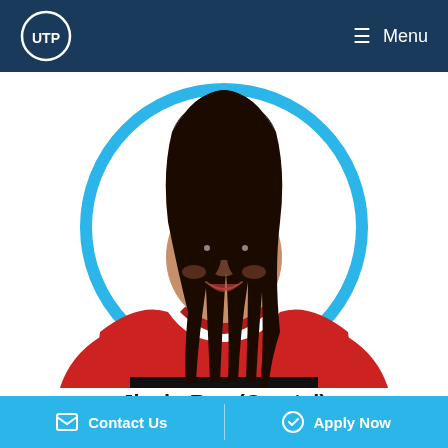UTP | Menu
[Figure (photo): Young woman smiling, wearing a red Northeastern University hoodie, shown within a circular blue ring frame against a white background.]
Jiayin Ren (Crystal)
Guangzhou, China
Contact Us | Apply Now